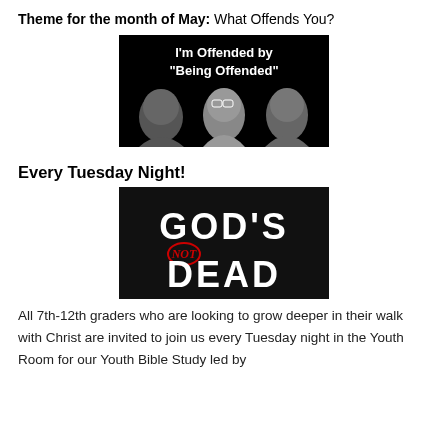Theme for the month of May: What Offends You?
[Figure (photo): Black background image with white bold text reading "I'm Offended by 'Being Offended'" and three young people below the text.]
Every Tuesday Night!
[Figure (photo): Black background image with large white text reading "GOD'S NOT DEAD" where "NOT" is in red italic with a circle around it.]
All 7th-12th graders who are looking to grow deeper in their walk with Christ are invited to join us every Tuesday night in the Youth Room for our Youth Bible Study led by